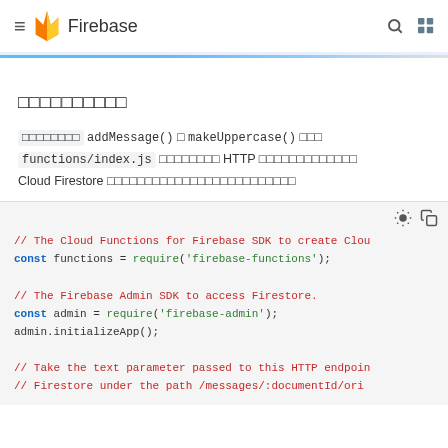≡ 🔥 Firebase 🔍 □□
□□□□□□□□□□
□□□□□□□□ addMessage() □ makeUppercase() □□□ functions/index.js □□□□□□□□ HTTP □□□□□□□□□□□□□ Cloud Firestore □□□□□□□□□□□□□□□□□□□□□□□□□
[Figure (screenshot): Code block showing JavaScript Firebase Cloud Functions code with syntax highlighting. Lines include: // The Cloud Functions for Firebase SDK to create Clou... const functions = require('firebase-functions'); // The Firebase Admin SDK to access Firestore. const admin = require('firebase-admin'); admin.initializeApp(); // Take the text parameter passed to this HTTP endpoin... // Firestore under the path /messages/:documentId/ori...]